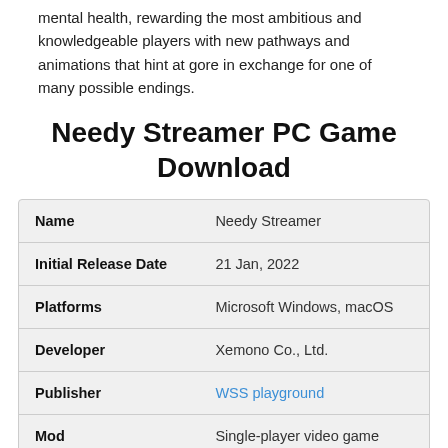mental health, rewarding the most ambitious and knowledgeable players with new pathways and animations that hint at gore in exchange for one of many possible endings.
Needy Streamer PC Game Download
| Field | Value |
| --- | --- |
| Name | Needy Streamer |
| Initial Release Date | 21 Jan, 2022 |
| Platforms | Microsoft Windows, macOS |
| Developer | Xemono Co., Ltd. |
| Publisher | WSS playground |
| Mod | Single-player video game |